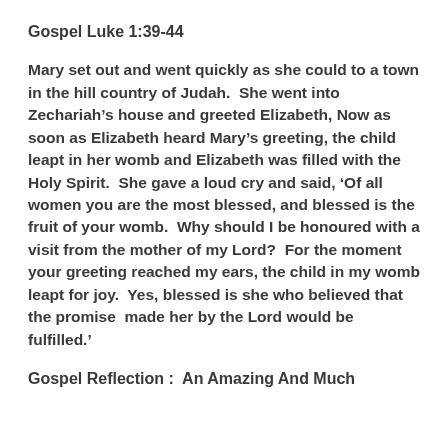Gospel Luke 1:39-44
Mary set out and went quickly as she could to a town in the hill country of Judah.  She went into Zechariah’s house and greeted Elizabeth, Now as soon as Elizabeth heard Mary’s greeting, the child leapt in her womb and Elizabeth was filled with the Holy Spirit.  She gave a loud cry and said, ‘Of all women you are the most blessed, and blessed is the fruit of your womb.  Why should I be honoured with a visit from the mother of my Lord?  For the moment your greeting reached my ears, the child in my womb leapt for joy.  Yes, blessed is she who believed that the promise  made her by the Lord would be fulfilled.’
Gospel Reflection :  An Amazing And Much